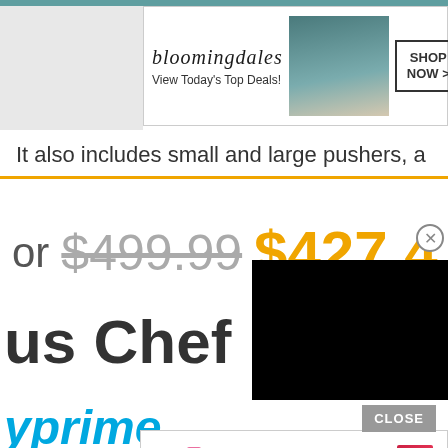[Figure (screenshot): Bloomingdale's banner advertisement with logo, tagline 'View Today's Top Deals!', model image, and SHOP NOW button]
It also includes small and large pushers, a
or $499.99 $427.4
us Chef 1
[Figure (screenshot): Black video/overlay box partially obscuring content]
yprime
[Figure (screenshot): CLOSE button overlay]
[Figure (screenshot): MAC cosmetics banner advertisement with lipstick images, MAC logo, SHOP NOW button]